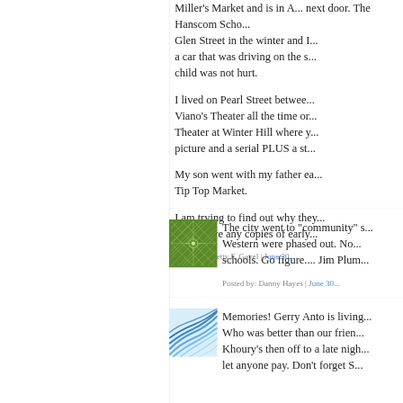Miller's Market and is in A... next door. The Hanscom Scho... Glen Street in the winter and I... a car that was driving on the s... child was not hurt.
I lived on Pearl Street betwee... Viano's Theater all the time or... Theater at Winter Hill where y... picture and a serial PLUS a st...
My son went with my father ea... Tip Top Market.
I am trying to find out why they... if there are any copies of early...
Posted by: Betty F. Gavel | June 30...
[Figure (illustration): Green geometric pattern avatar with starburst/lattice design on green background]
The city went to "community" s... Western were phased out. No... schools. Go figure.... Jim Plum...
Posted by: Danny Hayes | June 30...
[Figure (illustration): Blue and white curved lines avatar suggesting wind or waves on light blue background]
Memories! Gerry Anto is living... Who was better than our frien... Khoury's then off to a late nigh... let anyone pay. Don't forget S...